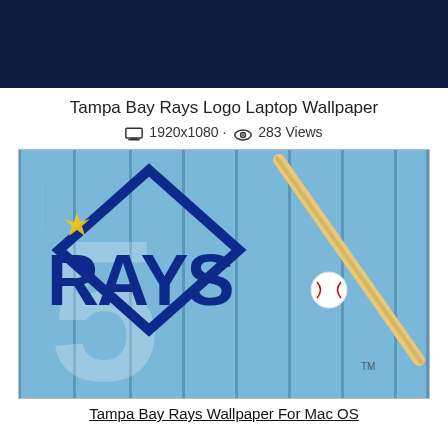[Figure (photo): Dark navy blue background image at the top of the page]
Tampa Bay Rays Logo Laptop Wallpaper
🖥 1920x1080 · 👁 283 Views
[Figure (photo): Tampa Bay Rays logo on a light blue wooden fence background with a baseball bat and ball]
Tampa Bay Rays Wallpaper For Mac OS